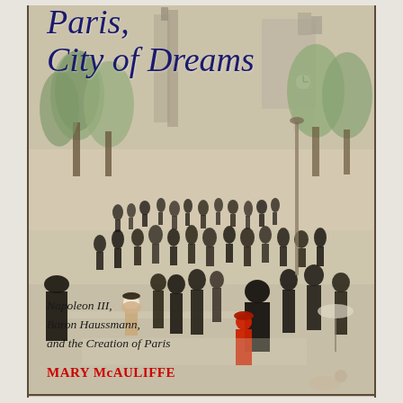[Figure (illustration): Book cover painting depicting a crowded Parisian boulevard scene with many figures in 19th-century dress, trees lining the street, and Gothic architecture visible in the background. A woman in a red dress and black hat is prominent in the foreground right.]
Paris, City of Dreams
Napoleon III, Baron Haussmann, and the Creation of Paris
MARY McAULIFFE